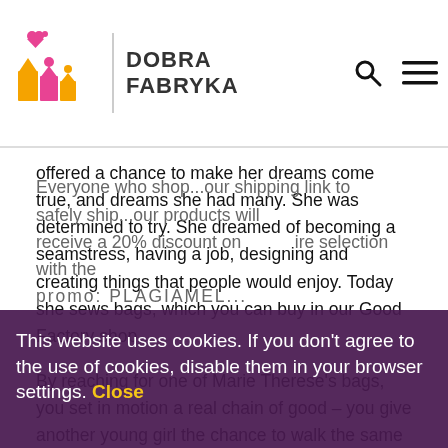[Figure (logo): Dobra Fabryka logo with colorful house/people figures and text]
offered a chance to make her dreams come true, and dreams she had many. She was determined to try. She dreamed of becoming a seamstress, having a job, designing and creating things that people would enjoy. Today she sews bags, which you can buy in our Good Factory shop.
By reaching for one of Marie Therese's bags, you set in motion a real chain of good – you give another young girl the chance to walk the same path that Marie Therese walked in pursuit of her dreams.
See for yourselves that GOOD comes back!
This website uses cookies. If you don't agree to the use of cookies, disable them in your browser settings. Close